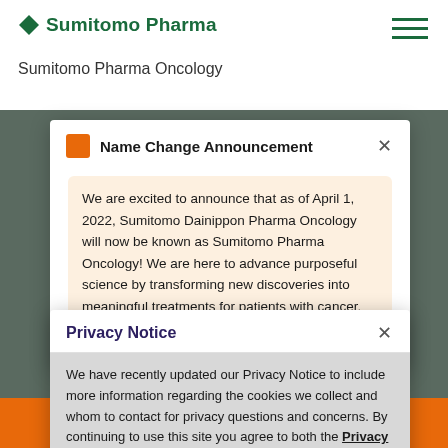[Figure (screenshot): Sumitomo Pharma website header with green logo, hamburger menu, and 'Sumitomo Pharma Oncology' subtitle text. Background shows a dark overlay with 'EXPLORE OUR WORK' watermark and an orange 'Our pipeline' banner at the bottom.]
Name Change Announcement
We are excited to announce that as of April 1, 2022, Sumitomo Dainippon Pharma Oncology will now be known as Sumitomo Pharma Oncology! We are here to advance purposeful science by transforming new discoveries into meaningful treatments for patients with cancer. Learn more about us and our mission.
Privacy Notice
We have recently updated our Privacy Notice to include more information regarding the cookies we collect and whom to contact for privacy questions and concerns. By continuing to use this site you agree to both the Privacy Notice and Terms of Use.
Our pipeline